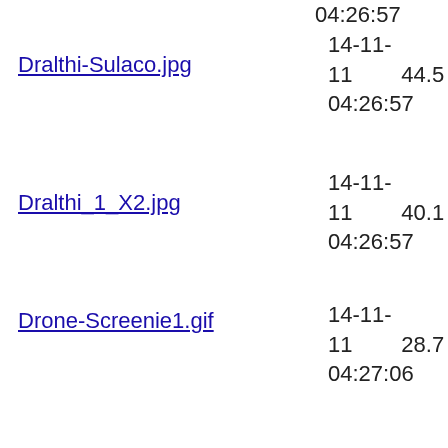04:26:57
Dralthi-Sulaco.jpg  14-11-11 04:26:57  44.5
Dralthi_1_X2.jpg  14-11-11 04:26:57  40.1
Drone-Screenie1.gif  14-11-11 04:27:06  28.7
Drone-Screenie1.jpg  14-11-11 04:27:15  265.
ED-ReadText-Fix.rar  14-11-11 04:29:46  2.47
Elite_weapon_prob.gif  14-11-11 04:29:46  336.
Exp-PcktCarrier1.jpg  14-11-11 04:29:47  25.9
Exp-PcktCarrier2.jpg  14-11-11  21.3